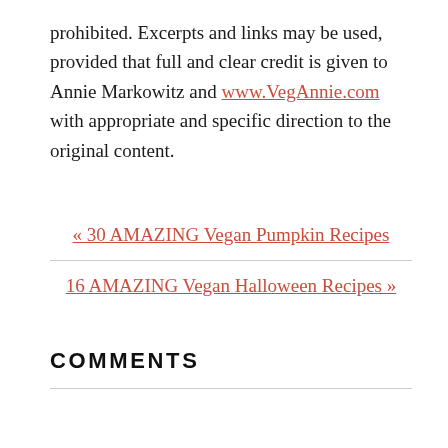prohibited. Excerpts and links may be used, provided that full and clear credit is given to Annie Markowitz and www.VegAnnie.com with appropriate and specific direction to the original content.
« 30 AMAZING Vegan Pumpkin Recipes
16 AMAZING Vegan Halloween Recipes »
COMMENTS